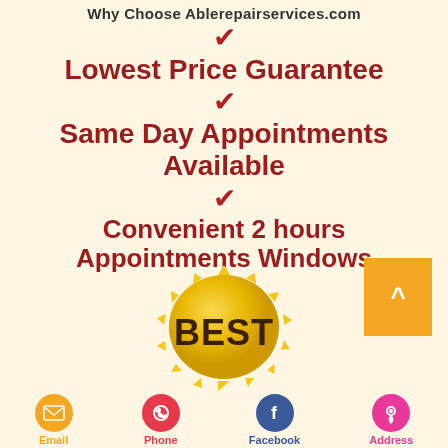Why Choose Ablerepairservices.com
✓ Lowest Price Guarantee
✓ Same Day Appointments Available
✓ Convenient 2 hours Appointments Windows
[Figure (illustration): Gold sun-burst badge with BEST written in bold dark text in the center]
[Figure (infographic): Footer bar with four circular icon buttons: Email (orange), Phone (red), Facebook (blue), Address (pink) with text labels beneath each]